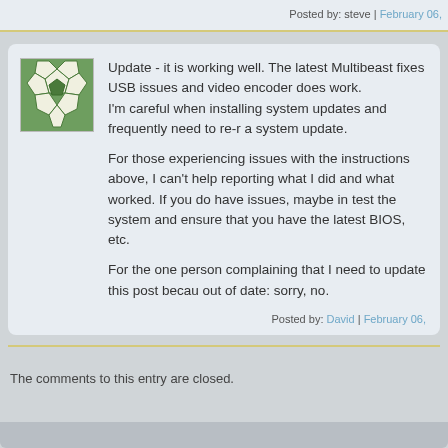Posted by: steve | February 06,
Update - it is working well. The latest Multibeast fixes USB issues and video encoder does work.
I'm careful when installing system updates and frequently need to re- a system update.

For those experiencing issues with the instructions above, I can't help reporting what I did and what worked. If you do have issues, maybe in test the system and ensure that you have the latest BIOS, etc.

For the one person complaining that I need to update this post becau out of date: sorry, no.
Posted by: David | February 06,
The comments to this entry are closed.